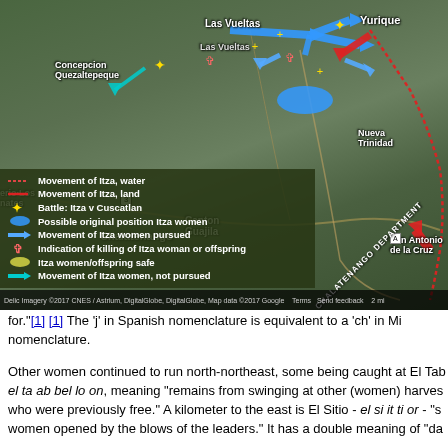[Figure (map): Satellite/aerial map of Chalatenango Department, El Salvador, showing movements of Itza people (water and land), battles between Itza and Cuscatlan, possible original positions of Itza women, movements of Itza women pursued and not pursued, indications of killing of Itza woman or offspring, and Itza women/offspring safe. Key locations include Las Vueltas, Yurique, Concepcion Quezaltepeque, Nueva Trinidad, San José Las Flores, Canton Guajila, Chalatenango, San Isidro Labrador, San Antonio de la Cruz, San José Cancasque. Map overlaid with colored arrows, lines, symbols. Legend in lower-left corner. Map data ©2017 Google/CNES/Astrium/DigitalGlobe.]
for."[1] [1] The 'j' in Spanish nomenclature is equivalent to a 'ch' in Mi nomenclature.
Other women continued to run north-northeast, some being caught at El Tab el ta ab bel lo on, meaning "remains from swinging at other (women) harves who were previously free." A kilometer to the east is El Sitio - el si it ti or - "s women opened by the blows of the leaders." It has a double meaning of "da